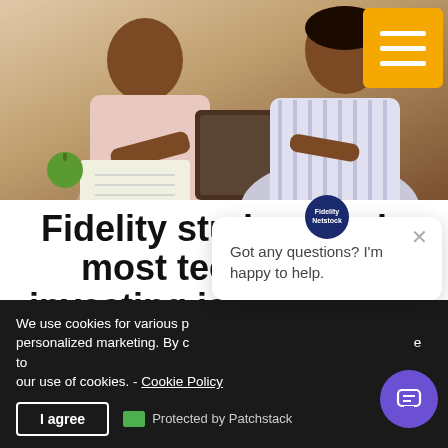[Figure (photo): Two people (adults/teens) sitting at a table with a laptop and notebook, smiling and working together. Orange hamburger menu button in top-right corner.]
Fidelity study reveals most teens think investing is confusing, but here's how parents ca[n help]
We use cookies for various purposes including analytics and personalized marketing. By continuing to use the service, you agree to our use of cookies. - Cookie Policy
I agree  Protected by Patchstack
Got any questions? I'm happy to help.